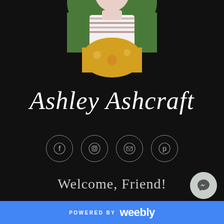[Figure (photo): Circular profile photo of a young woman wearing a striped top and yellow floral skirt, standing outdoors on a green background]
Ashley Ashcraft
[Figure (infographic): Four social media icon circles in a row: Facebook (f), Instagram (camera), Email (envelope), Pinterest (p)]
Welcome, Friend!
I'm so happy you're here! You are a beloved child of God...
POWERED BY weebly